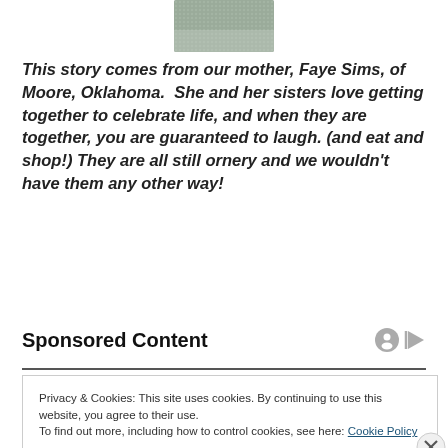[Figure (photo): Partial image at top, appears to be a knitted or textured fabric, grey-green tones]
This story comes from our mother, Faye Sims, of Moore, Oklahoma.  She and her sisters love getting together to celebrate life, and when they are together, you are guaranteed to laugh. (and eat and shop!) They are all still ornery and we wouldn't have them any other way!
Sponsored Content
Privacy & Cookies: This site uses cookies. By continuing to use this website, you agree to their use.
To find out more, including how to control cookies, see here: Cookie Policy